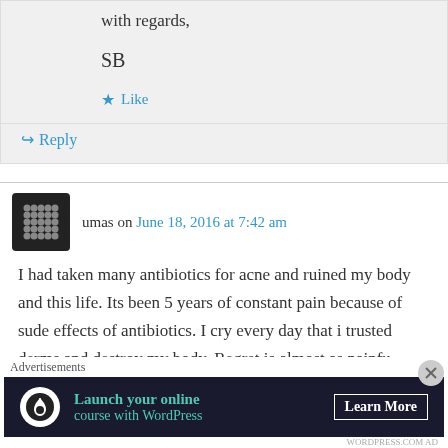with regards,
SB
Like
Reply
umas on June 18, 2016 at 7:42 am
I had taken many antibiotics for acne and ruined my body and this life. Its been 5 years of constant pain because of sude effects of antibiotics. I cry every day that i trusted derms and destroy my body. Regret is almost as painfu
Advertisements
[Figure (infographic): Advertisement banner: Launch your online course with WordPress — Learn More button on dark background]